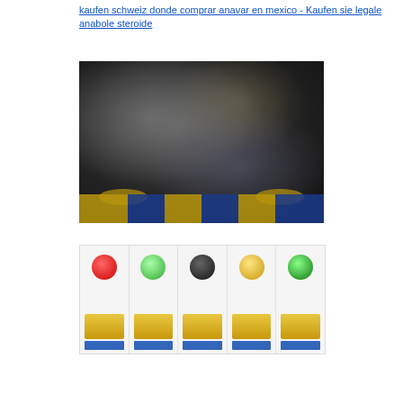kaufen schweiz donde comprar anavar en mexico - Kaufen sie legale anabole steroide
[Figure (photo): Blurry dark photograph showing what appears to be a sports or bodybuilding event with colored banners at the bottom in gold and blue.]
[Figure (photo): Blurry product display image showing supplement or steroid product bottles arranged side by side on a white background with gold and blue labels.]